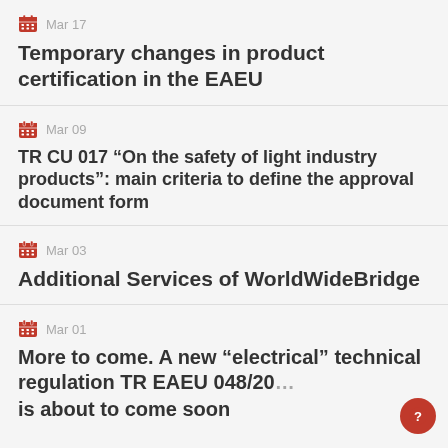Mar 17 — Temporary changes in product certification in the EAEU
Mar 09 — TR CU 017 “On the safety of light industry products”: main criteria to define the approval document form
Mar 03 — Additional Services of WorldWideBridge
Mar 01 — More to come. A new “electrical” technical regulation TR EAEU 048/20… is about to come soon